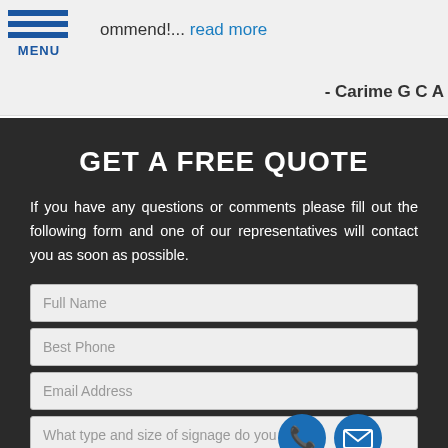ommend!... read more
- Carime G C A
GET A FREE QUOTE
If you have any questions or comments please fill out the following form and one of our representatives will contact you as soon as possible.
Full Name
Best Phone
Email Address
What type and size of signage do you need?